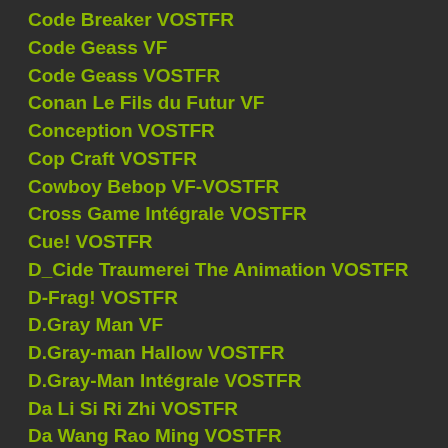Code Breaker VOSTFR
Code Geass VF
Code Geass VOSTFR
Conan Le Fils du Futur VF
Conception VOSTFR
Cop Craft VOSTFR
Cowboy Bebop VF-VOSTFR
Cross Game Intégrale VOSTFR
Cue! VOSTFR
D_Cide Traumerei The Animation VOSTFR
D-Frag! VOSTFR
D.Gray Man VF
D.Gray-man Hallow VOSTFR
D.Gray-Man Intégrale VOSTFR
Da Li Si Ri Zhi VOSTFR
Da Wang Rao Ming VOSTFR
Dai Zhu Zai : The Grand Lord VOSTFR
Dame x Prince Anime Caravan VOSTFR
Dance Dance Danseur VOSTFR